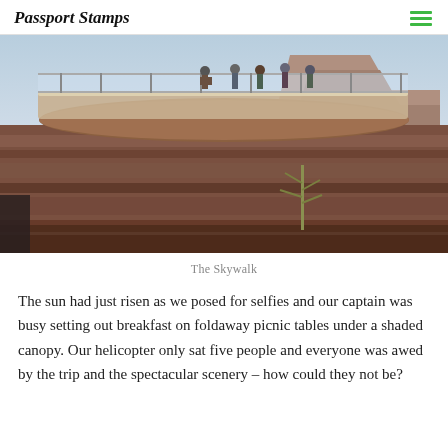Passport Stamps
[Figure (photo): Photo of the Grand Canyon Skywalk — a glass-floored observation platform extending over the canyon rim. Several visitors stand on the platform gazing out at the layered red rock canyon walls and blue sky. A tall desert plant (agave) is visible in the canyon below.]
The Skywalk
The sun had just risen as we posed for selfies and our captain was busy setting out breakfast on foldaway picnic tables under a shaded canopy. Our helicopter only sat five people and everyone was awed by the trip and the spectacular scenery – how could they not be?